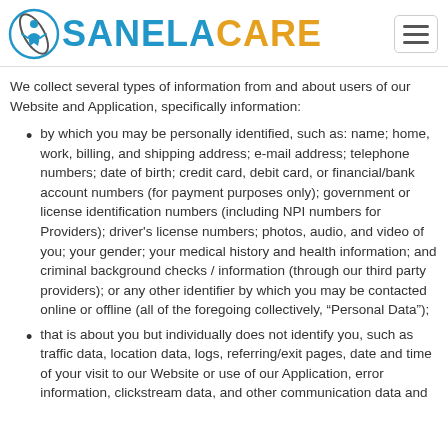[Figure (logo): SanelaCare logo with circular icon and text 'SANELA' in blue and 'CARE' in orange]
We collect several types of information from and about users of our Website and Application, specifically information:
by which you may be personally identified, such as: name; home, work, billing, and shipping address; e-mail address; telephone numbers; date of birth; credit card, debit card, or financial/bank account numbers (for payment purposes only); government or license identification numbers (including NPI numbers for Providers); driver's license numbers; photos, audio, and video of you; your gender; your medical history and health information; and criminal background checks / information (through our third party providers); or any other identifier by which you may be contacted online or offline (all of the foregoing collectively, “Personal Data”);
that is about you but individually does not identify you, such as traffic data, location data, logs, referring/exit pages, date and time of your visit to our Website or use of our Application, error information, clickstream data, and other communication data and